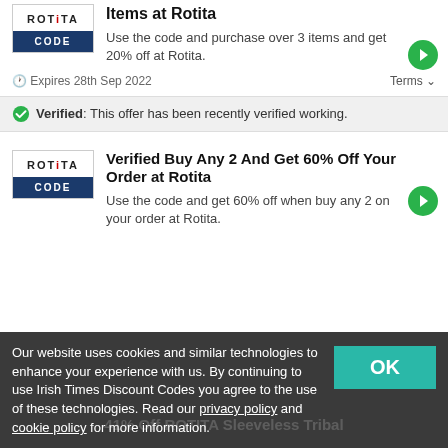Items at Rotita
Use the code and purchase over 3 items and get 20% off at Rotita.
🕐 Expires 28th Sep 2022
Terms ∨
Verified: This offer has been recently verified working.
Verified Buy Any 2 And Get 60% Off Your Order at Rotita
Use the code and get 60% off when buy any 2 on your order at Rotita.
Our website uses cookies and similar technologies to enhance your experience with us. By continuing to use Irish Times Discount Codes you agree to the use of these technologies. Read our privacy policy and cookie policy for more information.